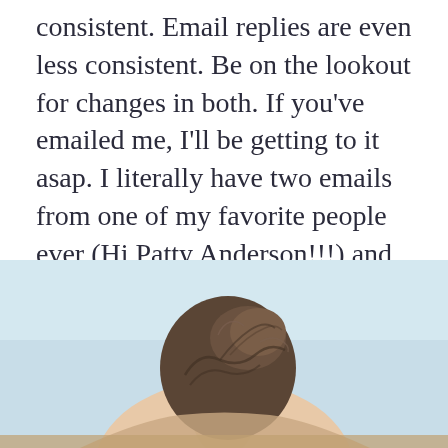consistent. Email replies are even less consistent. Be on the lookout for changes in both. If you've emailed me, I'll be getting to it asap. I literally have two emails from one of my favorite people ever (Hi Patty Anderson!!!) and am feeling rotten about needing to get on top of things. Hopefully this week, pending this dental situation which is the most non glam thing ever. :)
[Figure (photo): Bottom portion of a person with hair pulled up, photographed from behind/side, against a light blue background]